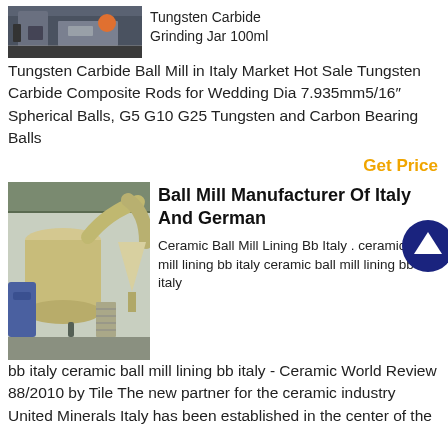[Figure (photo): Industrial facility interior showing equipment and machinery]
Tungsten Carbide Grinding Jar 100ml
Tungsten Carbide Ball Mill in Italy Market Hot Sale Tungsten Carbide Composite Rods for Wedding Dia 7.935mm5/16″ Spherical Balls, G5 G10 G25 Tungsten and Carbon Bearing Balls
Get Price
[Figure (photo): Large industrial ball mill machinery in a factory setting]
Ball Mill Manufacturer Of Italy And German
Ceramic Ball Mill Lining Bb Italy . ceramic ball mill lining bb italy ceramic ball mill lining bb italy ceramic ball mill lining bb italy - Ceramic World Review 88/2010 by Tile The new partner for the ceramic industry United Minerals Italy has been established in the center of the